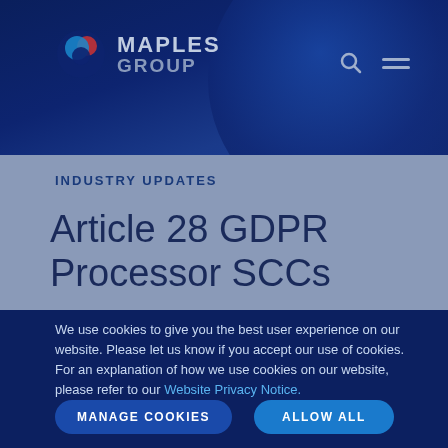[Figure (logo): Maples Group logo with circular icon and text MAPLES GROUP]
INDUSTRY UPDATES
Article 28 GDPR Processor SCCs
We use cookies to give you the best user experience on our website. Please let us know if you accept our use of cookies. For an explanation of how we use cookies on our website, please refer to our Website Privacy Notice.
MANAGE COOKIES   ALLOW ALL